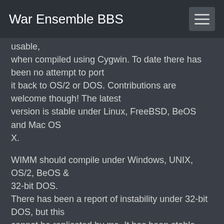War Ensemble BBS
usable, when compiled using Cygwin. To date there has been no attempt to port it back to OS/2 or DOS. Contributions are welcome though! The latest version is stable under Linux, FreeBSD, BeOS and Mac OS X.

WIMM should compile under Windows, UNIX, OS/2, BeOS & 32-bit DOS. There has been a report of instability under 32-bit DOS, but this cannot be replicated by me. It has been stable under FreeBSD during testing.

NetMgr is the most recent port, thanks to Bo Simonsen. Currently it only compiles under UNIX (Linux/FreeBSD) and BeOS. It will probably also compile under Cygwin. It won't compile out of the box for...